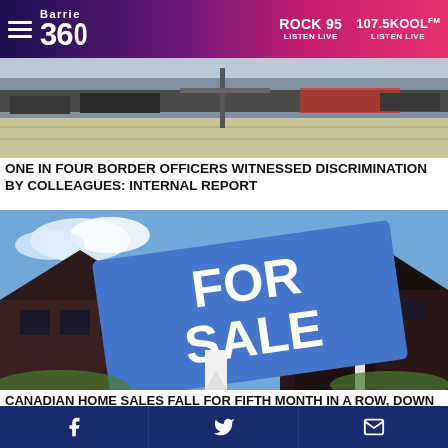Barrie 360 | ROCK 95 LISTEN LIVE | 107.5KOOLFM LISTEN LIVE
[Figure (photo): Photo of a border crossing or parking area with barrier gates and vehicles in the background]
ONE IN FOUR BORDER OFFICERS WITNESSED DISCRIMINATION BY COLLEAGUES: INTERNAL REPORT
[Figure (photo): Photo of a blue FOR SALE sign in front of a new brick house against a blue sky]
CANADIAN HOME SALES FALL FOR FIFTH MONTH IN A ROW, DOWN 29%
Share icons: Facebook, Twitter, Email